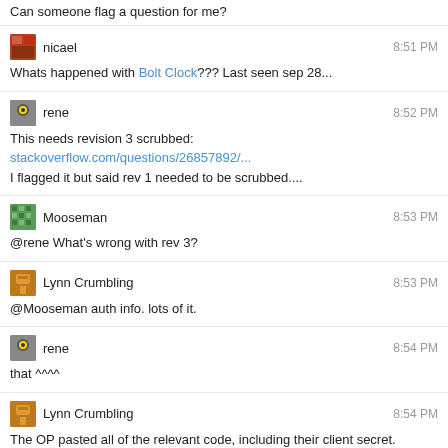Can someone flag a question for me?
nicael 8:51 PM
Whats happened with Bolt Clock??? Last seen sep 28...
rene 8:52 PM
This needs revision 3 scrubbed: stackoverflow.com/questions/26857892/...
I flagged it but said rev 1 needed to be scrubbed....
Mooseman 8:53 PM
@rene What's wrong with rev 3?
Lynn Crumbling 8:53 PM
@Mooseman auth info. lots of it.
rene 8:54 PM
that ^^^^
Lynn Crumbling 8:54 PM
The OP pasted all of the relevant code, including their client secret.
Mooseman 8:54 PM
@LynnCrumbling I overlooked the top of the first code block. I see it now...
@rene Flagged
Lynn Crumbling 8:55 PM
@Mooseman sigh "Here!! Have my credentials!!!"